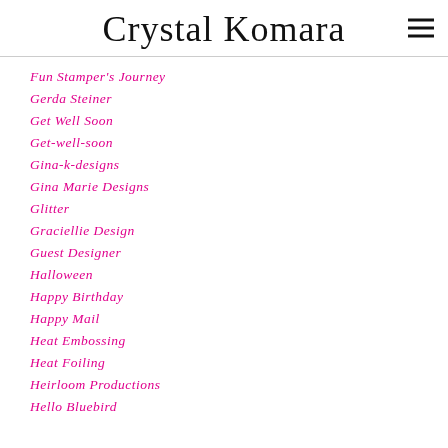Crystal Komara
Fun Stamper's Journey
Gerda Steiner
Get Well Soon
Get-well-soon
Gina-k-designs
Gina Marie Designs
Glitter
Graciellie Design
Guest Designer
Halloween
Happy Birthday
Happy Mail
Heat Embossing
Heat Foiling
Heirloom Productions
Hello Bluebird